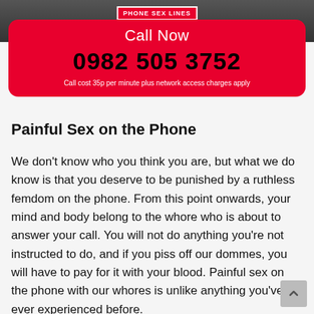[Figure (photo): Dark background image with a banner logo reading PHONE SEX LINES in red with white text]
Call Now
0982 505 3752
Call cost 35p per minute plus network access charges apply
Painful Sex on the Phone
We don't know who you think you are, but what we do know is that you deserve to be punished by a ruthless femdom on the phone. From this point onwards, your mind and body belong to the whore who is about to answer your call. You will not do anything you're not instructed to do, and if you piss off our dommes, you will have to pay for it with your blood. Painful sex on the phone with our whores is unlike anything you've ever experienced before.